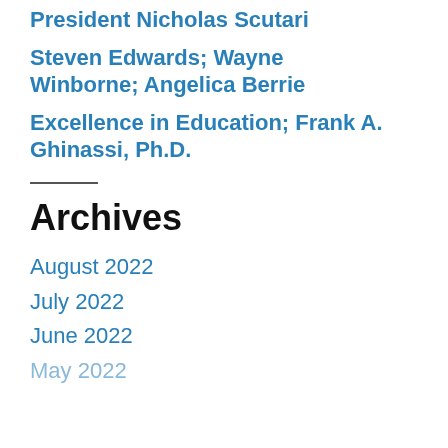President Nicholas Scutari
Steven Edwards; Wayne Winborne; Angelica Berrie
Excellence in Education; Frank A. Ghinassi, Ph.D.
Archives
August 2022
July 2022
June 2022
May 2022